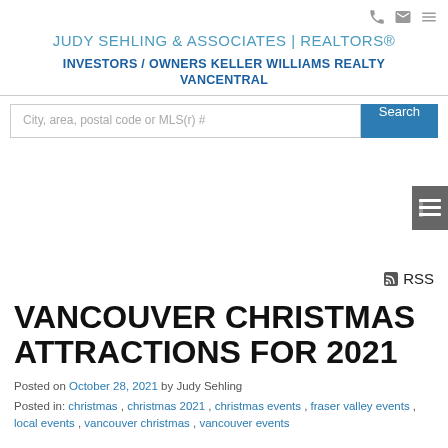JUDY SEHLING & ASSOCIATES | REALTORS®
INVESTORS / OWNERS KELLER WILLIAMS REALTY VANCENTRAL
City, area, postal code or MLS(r) # [Search]
RSS
VANCOUVER CHRISTMAS ATTRACTIONS FOR 2021
Posted on October 28, 2021 by Judy Sehling
Posted in: christmas , christmas 2021 , christmas events , fraser valley events , local events , vancouver christmas , vancouver events